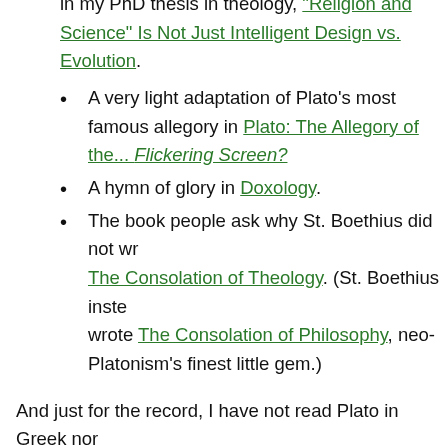in my PhD thesis in theology, "Religion and Science" Is Not Just Intelligent Design vs. Evolution.
A very light adaptation of Plato's most famous allegory in Plato: The Allegory of the... Flickering Screen?
A hymn of glory in Doxology.
The book people ask why St. Boethius did not write The Consolation of Theology. (St. Boethius instead wrote The Consolation of Philosophy, neo-Platonism's finest little gem.)
And just for the record, I have not read Plato in Greek nor